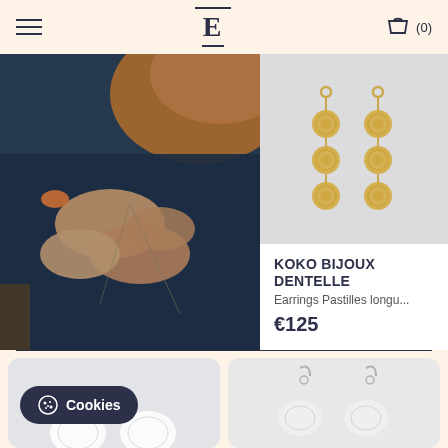E (0)
[Figure (photo): Hands holding a thin thread or wire, crafting jewelry, dark blue fabric in background, orange tool visible]
[Figure (photo): Gold drop earrings with circular lace medallions on gray background]
KOKO BIJOUX DENTELLE
Earrings Pastilles longu...
€125
[Figure (photo): White lace flower earrings with Cookies overlay badge on light gray background]
[Figure (photo): Silver wire hook earrings with white lace flower pendants on gray background]
Cookies